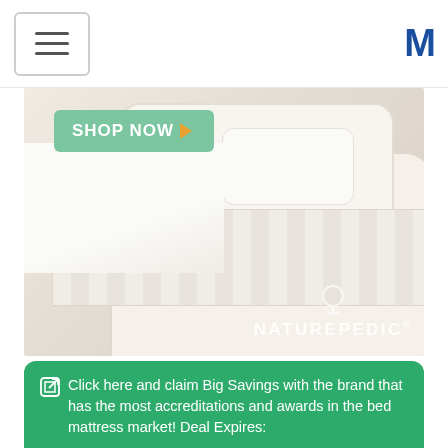[Figure (screenshot): Navigation bar with hamburger menu icon on the left and a blue M logo on the right]
[Figure (photo): Naturepedic mattress/bed product banner ad with 'SHOP NOW' button overlay and Naturepedic branding in the bottom right]
Click here and claim Big Savings with the brand that has the most accreditations and awards in the bed mattress market! Deal Expires: